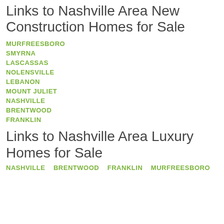Links to Nashville Area New Construction Homes for Sale
MURFREESBORO
SMYRNA
LASCASSAS
NOLENSVILLE
LEBANON
MOUNT JULIET
NASHVILLE
BRENTWOOD
FRANKLIN
Links to Nashville Area Luxury Homes for Sale
NASHVILLE   BRENTWOOD   FRANKLIN   MURFREESBORO